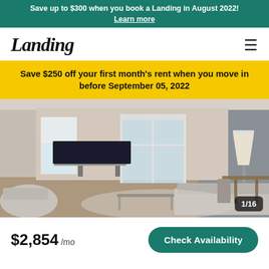Save up to $300 when you book a Landing in August 2022! Learn more
Landing
Save $250 off your first month's rent when you move in before September 05, 2022
[Figure (photo): Living room interior with sofa, chairs, TV, coffee table, and glass balcony doors. Image counter shows 1/16.]
$2,854 /mo
Check Availability